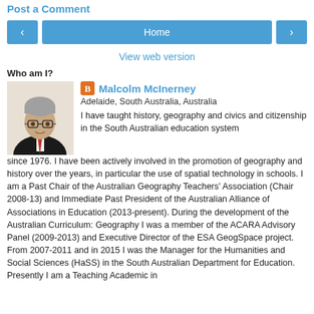Post a Comment
Home
View web version
Who am I?
[Figure (photo): Profile photo of Malcolm McInerney, a man in a suit with glasses]
Malcolm McInerney
Adelaide, South Australia, Australia
I have taught history, geography and civics and citizenship in the South Australian education system since 1976. I have been actively involved in the promotion of geography and history over the years, in particular the use of spatial technology in schools. I am a Past Chair of the Australian Geography Teachers' Association (Chair 2008-13) and Immediate Past President of the Australian Alliance of Associations in Education (2013-present). During the development of the Australian Curriculum: Geography I was a member of the ACARA Advisory Panel (2009-2013) and Executive Director of the ESA GeogSpace project. From 2007-2011 and in 2015 I was the Manager for the Humanities and Social Sciences (HaSS) in the South Australian Department for Education. Presently I am a Teaching Academic in